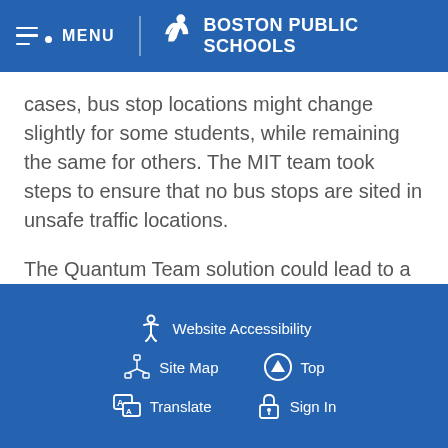MENU  BOSTON PUBLIC SCHOOLS
cases, bus stop locations might change slightly for some students, while remaining the same for others. The MIT team took steps to ensure that no bus stops are sited in unsafe traffic locations.
The Quantum Team solution could lead to a 20,000-pound reduction in carbon emissions produced by BPS buses each day, and could remove nearly 1 million miles of traffic-clogging bus trips off the road each year.
Website Accessibility  Site Map  Top  Translate  Sign In